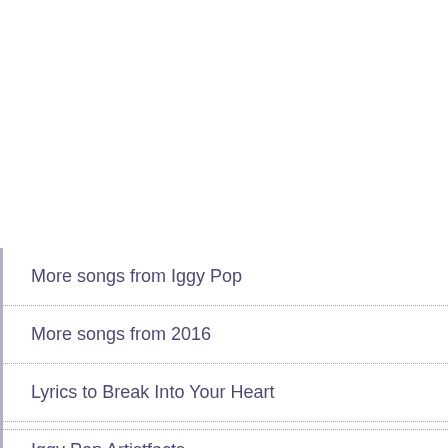More songs from Iggy Pop
More songs from 2016
Lyrics to Break Into Your Heart
Iggy Pop Artistfacts